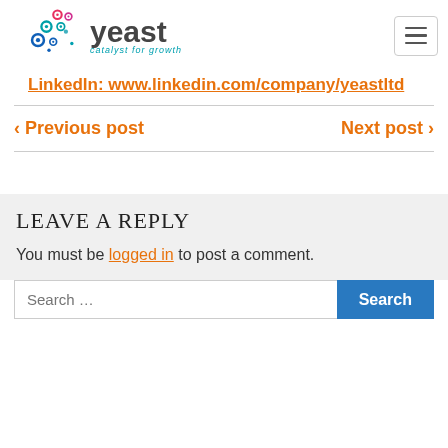yeast – catalyst for growth
LinkedIn: www.linkedin.com/company/yeastltd
‹ Previous post   Next post ›
LEAVE A REPLY
You must be logged in to post a comment.
Search …